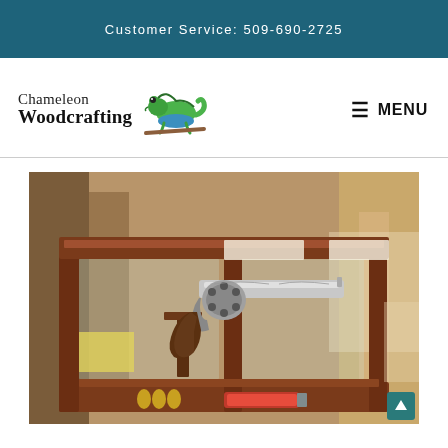Customer Service: 509-690-2725
[Figure (logo): Chameleon Woodcrafting logo with chameleon illustration]
≡ MENU
[Figure (photo): A wooden display case with glass panels showcasing a revolver handgun on a stand, with bullets and a pocket knife on the base shelf]